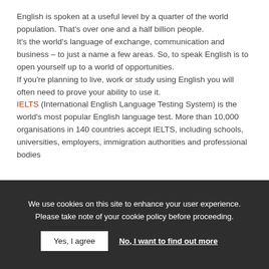English is spoken at a useful level by a quarter of the world population. That's over one and a half billion people.
It's the world's language of exchange, communication and business – to just a name a few areas. So, to speak English is to open yourself up to a world of opportunities.
If you're planning to live, work or study using English you will often need to prove your ability to use it.
IELTS (International English Language Testing System) is the world's most popular English language test. More than 10,000 organisations in 140 countries accept IELTS, including schools, universities, employers, immigration authorities and professional bodies
We use cookies on this site to enhance your user experience. Please take note of your cookie policy before proceeding.
Yes, I agree | No, I want to find out more